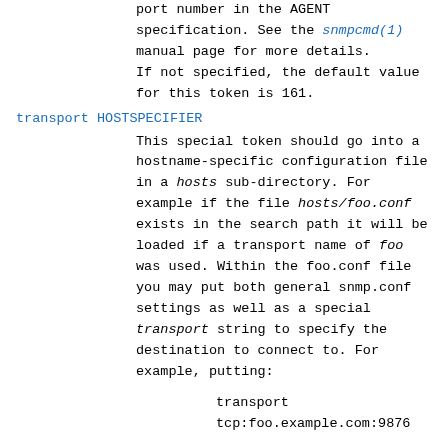port number in the AGENT specification. See the snmpcmd(1) manual page for more details. If not specified, the default value for this token is 161.
transport HOSTSPECIFIER
This special token should go into a hostname-specific configuration file in a hosts sub-directory. For example if the file hosts/foo.conf exists in the search path it will be loaded if a transport name of foo was used. Within the foo.conf file you may put both general snmp.conf settings as well as a special transport string to specify the destination to connect to. For example, putting:
transport
tcp:foo.example.com:9876
in the hosts/foo.conf file will make applications referencing the foo...